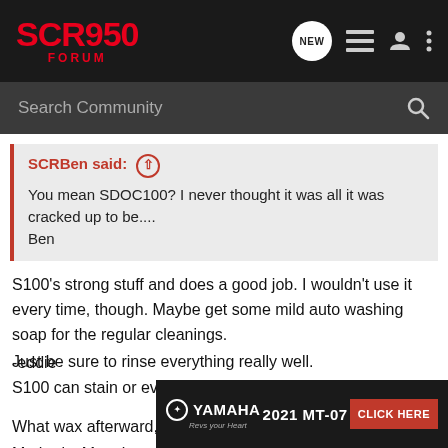SCR950 FORUM
Search Community
SCRBen said: ↑
You mean SDOC100? I never thought it was all it was cracked up to be....
Ben
S100's strong stuff and does a good job. I wouldn't use it every time, though. Maybe get some mild auto washing soap for the regular cleanings.
Just be sure to rinse everything really well.
S100 can stain or even etch alloy parts.

What wax afterward, Srinath?
Mother's, Mequires, Zymol...all make fine products.

-eddie
[Figure (screenshot): Yamaha 2021 MT-07 advertisement banner with CLICK HERE button]